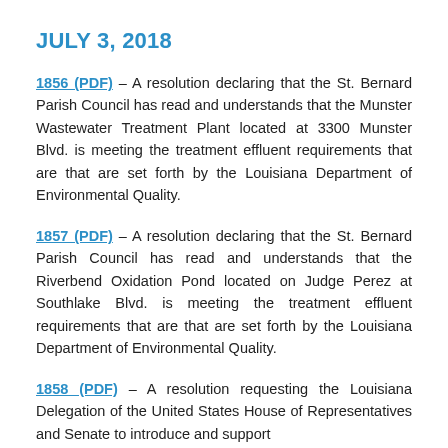JULY 3, 2018
1856 (PDF) – A resolution declaring that the St. Bernard Parish Council has read and understands that the Munster Wastewater Treatment Plant located at 3300 Munster Blvd. is meeting the treatment effluent requirements that are that are set forth by the Louisiana Department of Environmental Quality.
1857 (PDF) – A resolution declaring that the St. Bernard Parish Council has read and understands that the Riverbend Oxidation Pond located on Judge Perez at Southlake Blvd. is meeting the treatment effluent requirements that are that are set forth by the Louisiana Department of Environmental Quality.
1858 (PDF) – A resolution requesting the Louisiana Delegation of the United States House of Representatives and Senate to introduce and support